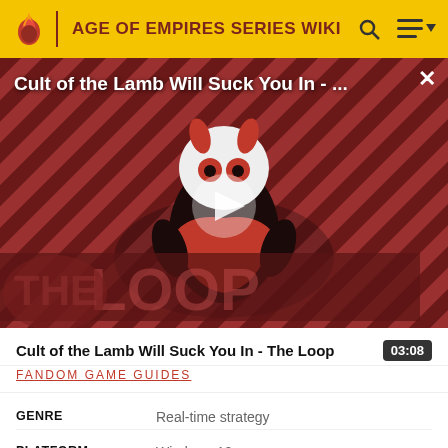AGE OF EMPIRES SERIES WIKI
[Figure (screenshot): Video thumbnail for 'Cult of the Lamb Will Suck You In - The Loop' showing a cartoon lamb character on a red diagonal striped background with 'THE LOOP' text, and a play button overlay.]
Cult of the Lamb Will Suck You In - The Loop
03:08
FANDOM GAME GUIDES
| Field | Value |
| --- | --- |
| GENRE | Real-time strategy |
| PLATFORM | Windows 10 |